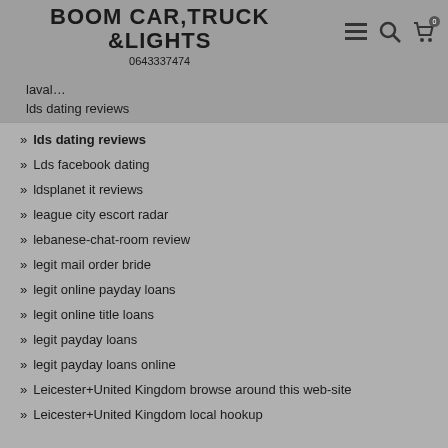BOOM CAR,TRUCK &LIGHTS 0643337474
laval...
lds dating reviews
lds dating reviews
Lds facebook dating
ldsplanet it reviews
league city escort radar
lebanese-chat-room review
legit mail order bride
legit online payday loans
legit online title loans
legit payday loans
legit payday loans online
Leicester+United Kingdom browse around this web-site
Leicester+United Kingdom local hookup